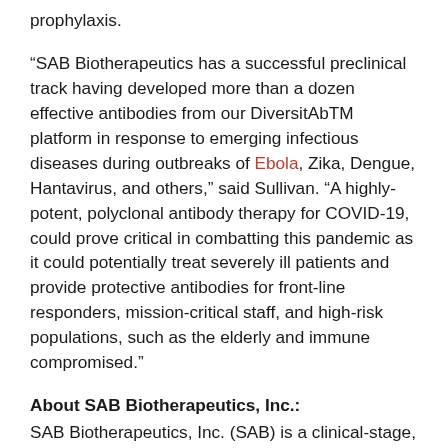prophylaxis.
“SAB Biotherapeutics has a successful preclinical track having developed more than a dozen effective antibodies from our DiversitAbTM platform in response to emerging infectious diseases during outbreaks of Ebola, Zika, Dengue, Hantavirus, and others,” said Sullivan. “A highly-potent, polyclonal antibody therapy for COVID-19, could prove critical in combatting this pandemic as it could potentially treat severely ill patients and provide protective antibodies for front-line responders, mission-critical staff, and high-risk populations, such as the elderly and immune compromised.”
About SAB Biotherapeutics, Inc.:
SAB Biotherapeutics, Inc. (SAB) is a clinical-stage, biopharmaceutical company advancing a new class of immunotherapies leveraging fully human